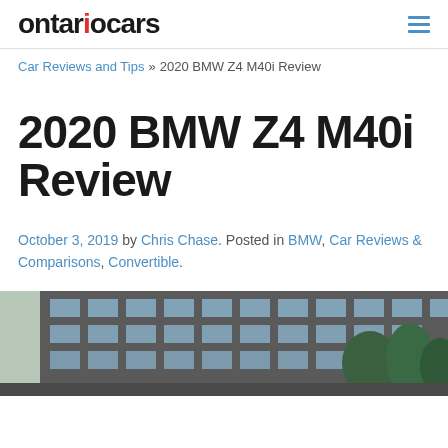ontariocars [logo] [hamburger menu]
Car Reviews and Tips » 2020 BMW Z4 M40i Review
2020 BMW Z4 M40i Review
October 3, 2019 by Chris Chase. Posted in BMW, Car Reviews & Comparisons, Convertible.
[Figure (photo): Exterior photo of a building with glass windows and trees, partially visible at bottom of the page]